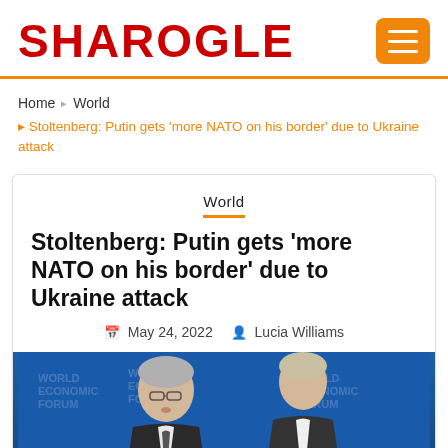SHAROGLE
Home › World › Stoltenberg: Putin gets 'more NATO on his border' due to Ukraine attack
World
Stoltenberg: Putin gets 'more NATO on his border' due to Ukraine attack
May 24, 2022   Lucia Williams
[Figure (photo): Two men at a press conference in front of a blue backdrop with logos, appearing to be at the World Economic Forum in Davos.]